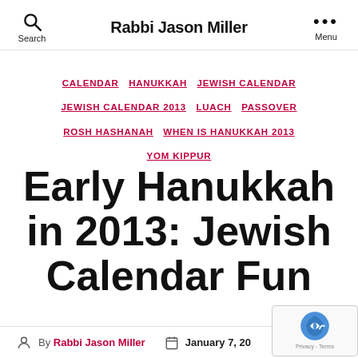Rabbi Jason Miller
CALENDAR  HANUKKAH  JEWISH CALENDAR  JEWISH CALENDAR 2013  LUACH  PASSOVER  ROSH HASHANAH  WHEN IS HANUKKAH 2013  YOM KIPPUR
Early Hanukkah in 2013: Jewish Calendar Fun
By Rabbi Jason Miller  January 7, 20...